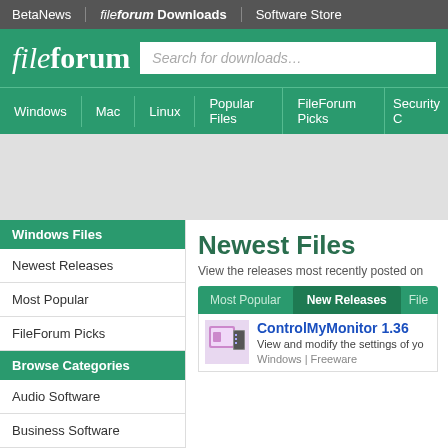BetaNews | fileforum Downloads | Software Store
[Figure (logo): fileforum logo in white italic text on green background with search bar]
Windows | Mac | Linux | Popular Files | FileForum Picks | Security C
[Figure (other): Gray advertisement/banner area]
Windows Files
Newest Releases
Most Popular
FileForum Picks
Browse Categories
Audio Software
Business Software
Codecs
Newest Files
View the releases most recently posted on
Most Popular | New Releases | File
ControlMyMonitor 1.36
View and modify the settings of yo
Windows | Freeware